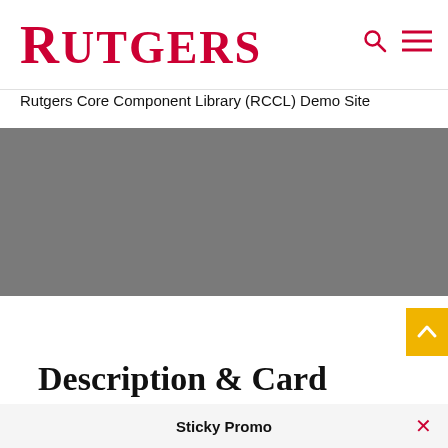RUTGERS
Rutgers Core Component Library (RCCL) Demo Site
[Figure (photo): Grey banner placeholder image area]
Description & Card
Sticky Promo